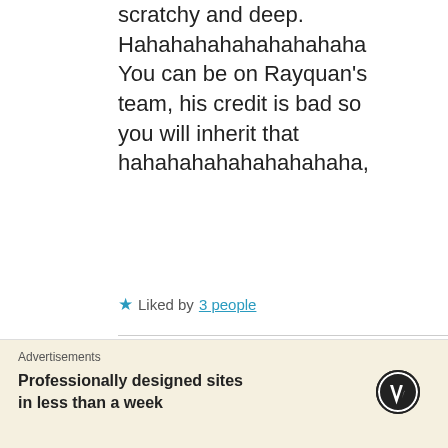scratchy and deep. Hahahahahahahahahaha You can be on Rayquan's team, his credit is bad so you will inherit that hahahahahahahahahaha,
★ Liked by 3 people
Lady G DECEMBER 3,
[Figure (photo): Circular avatar photo of Lady G, a woman smiling, dark background]
Advertisements
Professionally designed sites in less than a week